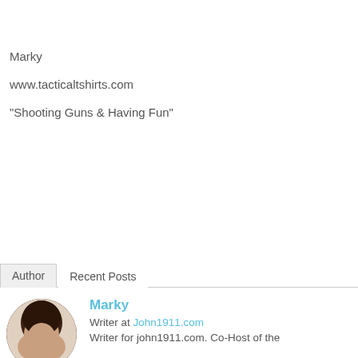Marky
www.tacticaltshirts.com
“Shooting Guns & Having Fun”
Author   Recent Posts
Marky
Writer at John1911.com
Writer for john1911.com. Co-Host of the